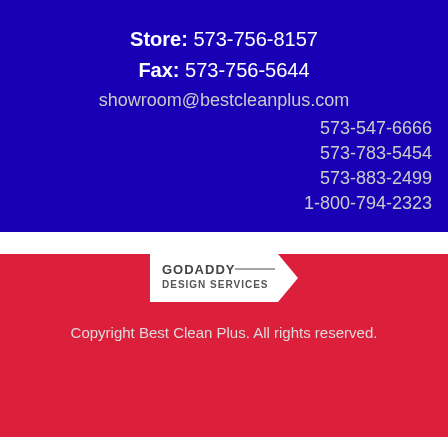Store: 573-756-8157
Fax: 573-756-5644
showroom@bestcleanplus.com
573-547-6666
573-783-5454
573-883-2499
1-800-794-2323
[Figure (logo): GoDaddy Design Services logo — white pentagon-arrow shape with 'GODADDY — DESIGN SERVICES' text in dark grey]
Copyright Best Clean Plus. All rights reserved.